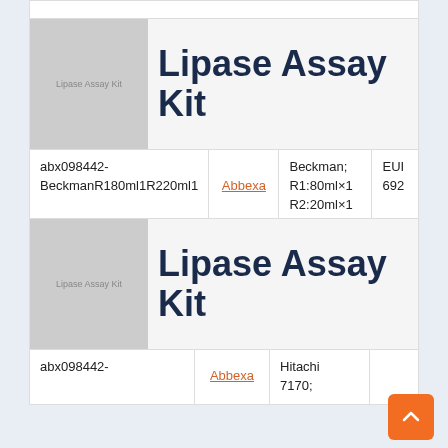| Product | Brand | Spec | Price |
| --- | --- | --- | --- |
| abx098442-BeckmanR180ml1R220ml1 | Abbexa | Beckman; R1:80ml×1 R2:20ml×1 | EUI 692 |
Lipase Assay Kit
| Product | Brand | Spec | Price |
| --- | --- | --- | --- |
| abx098442- | Abbexa | Hitachi 7170; |  |
Lipase Assay Kit